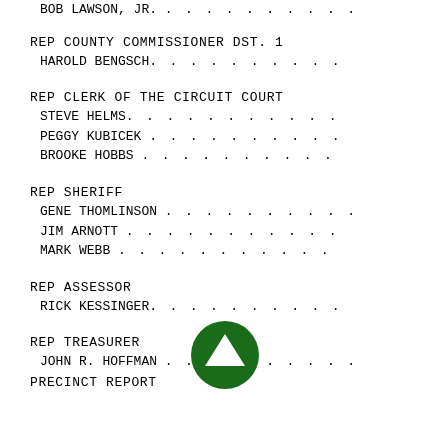BOB LAWSON, JR. . . . . . . . . . .
REP COUNTY COMMISSIONER DST. 1
HAROLD BENGSCH. . . . . . . . . . .
REP CLERK OF THE CIRCUIT COURT
STEVE HELMS. . . . . . . . . . . .
PEGGY KUBICEK . . . . . . . . . . .
BROOKE HOBBS . . . . . . . . . . .
REP SHERIFF
GENE THOMLINSON . . . . . . . . . .
JIM ARNOTT . . . . . . . . . . . .
MARK WEBB . . . . . . . . . . . .
REP ASSESSOR
RICK KESSINGER. . . . . . . . . . .
REP TREASURER
JOHN R. HOFFMAN . . . . . . . . . .
PRECINCT REPORT